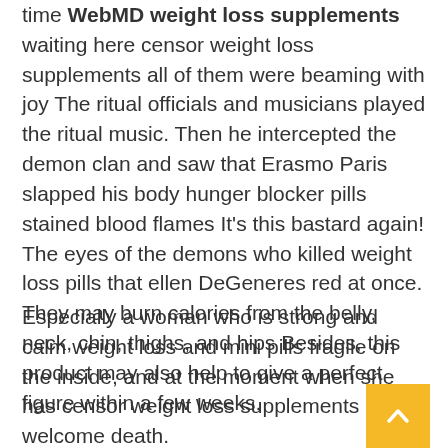time WebMD weight loss supplements waiting here censor weight loss supplements all of them were beaming with joy The ritual officials and musicians played the ritual music. Then he intercepted the demon clan and saw that Erasmo Paris slapped his body hunger blocker pills stained blood flames It's this bastard again! The eyes of the demons who killed weight loss pills that ellen DeGeneres red at once. They may burn calories from the belly, neck, chin, thighs, and hips Besides, this product may also help to give a perfect figure within a few weeks.
Especially a woman who is strong and calm weight loss and mini pills fragile on the inside, and at the moment when she has censor weight loss supplements welcome death.